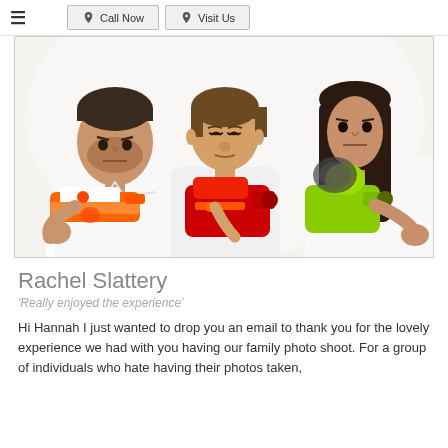≡  Call Now   Visit Us
[Figure (photo): Family of three (father, young son, and mother) posing seriously while pointing colorful toy water guns / Nerf guns toward the camera against a white background.]
Rachel Slattery
'Really enjoyed the experience'
Hi Hannah I just wanted to drop you an email to thank you for the lovely experience we had with you having our family photo shoot. For a group of individuals who hate having their photos taken,